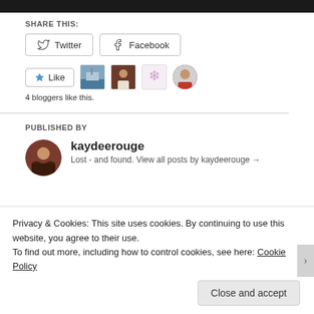[Figure (photo): Dark image strip at top of page]
SHARE THIS:
[Figure (screenshot): Twitter and Facebook share buttons]
[Figure (screenshot): Like button with 4 blogger avatars]
4 bloggers like this.
PUBLISHED BY
[Figure (photo): Author avatar - round profile photo of kaydeerouge]
kaydeerouge
Lost - and found. View all posts by kaydeerouge →
Privacy & Cookies: This site uses cookies. By continuing to use this website, you agree to their use.
To find out more, including how to control cookies, see here: Cookie Policy
Close and accept